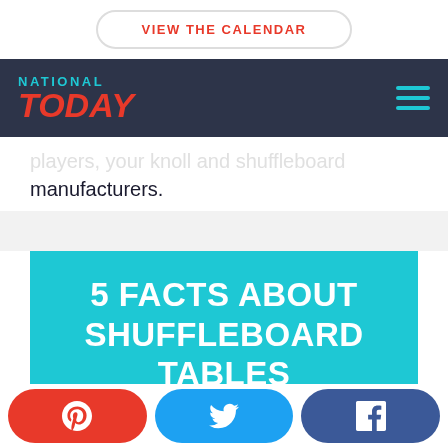VIEW THE CALENDAR
[Figure (logo): National Today logo with navigation bar on dark background]
players, your knoll and shuffleboard manufacturers.
5 FACTS ABOUT SHUFFLEBOARD TABLES YOU WON'T BELIEVE ARE
[Figure (infographic): Social share buttons: Pinterest (red), Twitter (blue), Facebook (dark blue)]